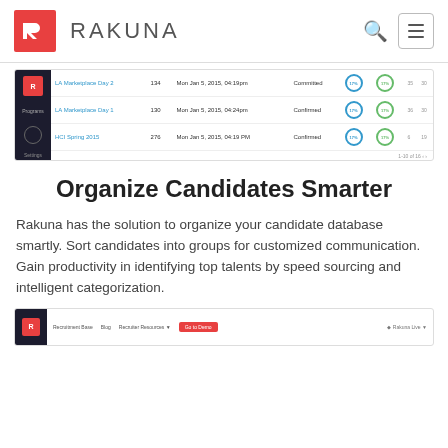RAKUNA
[Figure (screenshot): Screenshot of Rakuna candidate management dashboard showing a list of candidates with columns for name, ID, date, status, and circular progress badges]
Organize Candidates Smarter
Rakuna has the solution to organize your candidate database smartly. Sort candidates into groups for customized communication. Gain productivity in identifying top talents by speed sourcing and intelligent categorization.
[Figure (screenshot): Partial screenshot of Rakuna web interface showing navigation bar with logo and menu items]